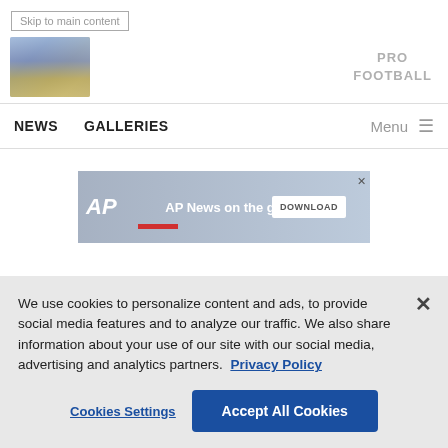Skip to main content
[Figure (logo): Website logo image for a football/sports news site]
PRO
FOOTBALL
NEWS   GALLERIES   Menu ≡
[Figure (screenshot): AP News on the go advertisement banner with DOWNLOAD button]
We use cookies to personalize content and ads, to provide social media features and to analyze our traffic. We also share information about your use of our site with our social media, advertising and analytics partners.  Privacy Policy
Cookies Settings
Accept All Cookies